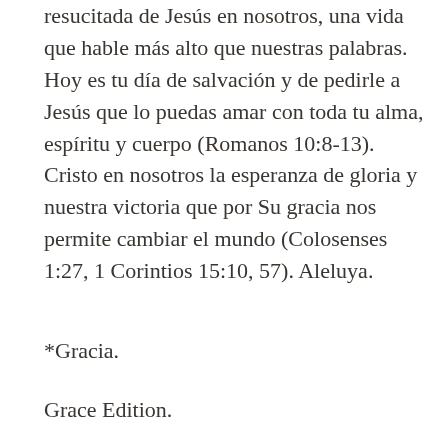resucitada de Jesús en nosotros, una vida que hable más alto que nuestras palabras. Hoy es tu día de salvación y de pedirle a Jesús que lo puedas amar con toda tu alma, espíritu y cuerpo (Romanos 10:8-13). Cristo en nosotros la esperanza de gloria y nuestra victoria que por Su gracia nos permite cambiar el mundo (Colosenses 1:27, 1 Corintios 15:10, 57). Aleluya.
*Gracia.
Grace Edition.